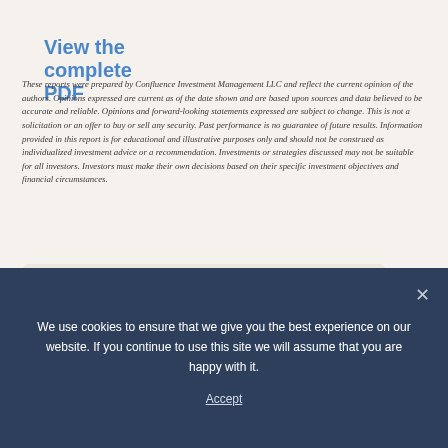View the complete PDF
These reports were prepared by Confluence Investment Management LLC and reflect the current opinion of the authors. Opinions expressed are current as of the date shown and are based upon sources and data believed to be accurate and reliable. Opinions and forward-looking statements expressed are subject to change. This is not a solicitation or an offer to buy or sell any security. Past performance is no guarantee of future results. Information provided in this report is for educational and illustrative purposes only and should not be construed as individualized investment advice or a recommendation. Investments or strategies discussed may not be suitable for all investors. Investors must make their own decisions based on their specific investment objectives and financial circumstances.
All
Daily Comment
Bi-Weekly Geopolitical Report
We use cookies to ensure that we give you the best experience on our website. If you continue to use this site we will assume that you are happy with it.
Accept